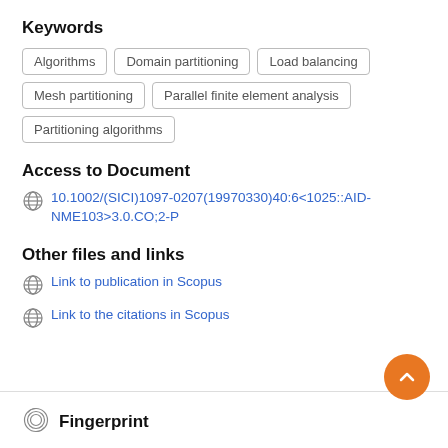Keywords
Algorithms
Domain partitioning
Load balancing
Mesh partitioning
Parallel finite element analysis
Partitioning algorithms
Access to Document
10.1002/(SICI)1097-0207(19970330)40:6<1025::AID-NME103>3.0.CO;2-P
Other files and links
Link to publication in Scopus
Link to the citations in Scopus
Fingerprint